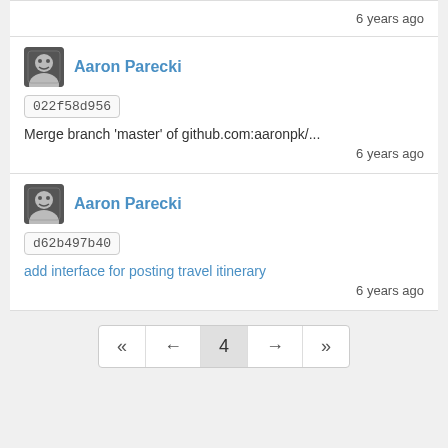6 years ago
Aaron Parecki
022f58d956
Merge branch 'master' of github.com:aaronpk/...
6 years ago
Aaron Parecki
d62b497b40
add interface for posting travel itinerary
6 years ago
« ← 4 → »